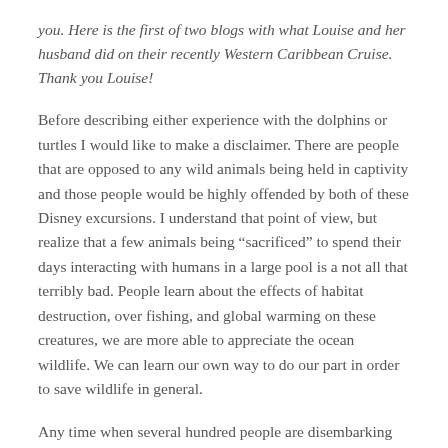you.  Here is the first of two blogs with what Louise and her husband did on their recently Western Caribbean Cruise.  Thank you Louise!
Before describing either experience with the dolphins or turtles I would like to make a disclaimer.  There are people that are opposed to any wild animals being held in captivity and those people would be highly offended by both of these Disney excursions.  I understand that point of view, but realize that a few animals being “sacrificed” to spend their days interacting with humans in a large pool is a not all that terribly bad.  People learn about the effects of habitat destruction, over fishing, and global warming on these creatures, we are more able to appreciate the ocean wildlife.  We can learn our own way to do our part in order to save wildlife in general.
Any time when several hundred people are disembarking